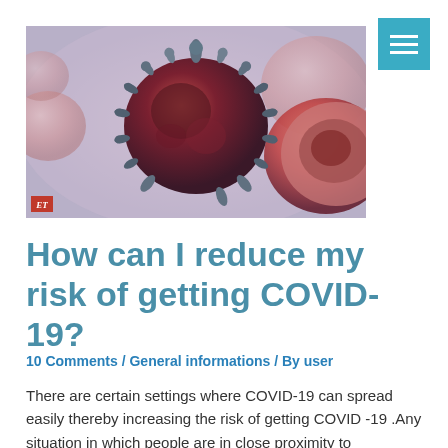[Figure (photo): Microscopic illustration of COVID-19 coronavirus particles — large central red-brown spiky virus surrounded by other virus particles and cells on a light purple/grey background. ET logo badge in bottom-left corner.]
How can I reduce my risk of getting COVID-19?
10 Comments / General informations / By user
There are certain settings where COVID-19 can spread easily thereby increasing the risk of getting COVID -19 .Any situation in which people are in close proximity to